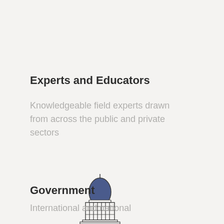Experts and Educators
Knowledgeable field experts drawn from across the public and private sectors
[Figure (illustration): Icon of a government/capitol building with a blue dome and white pillared facade]
Government
International and national